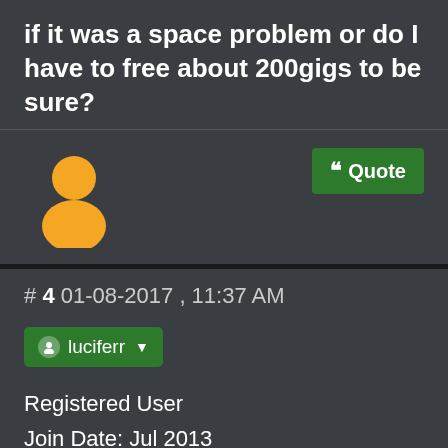if it was a space problem or do I have to free about 200gigs to be sure?
[Figure (illustration): Yellow generic user avatar icon (circle head and torso silhouette)]
Quote
# 4 01-08-2017 , 11:37 AM
luciferr
Registered User
Join Date: Jul 2013
Posts: 68